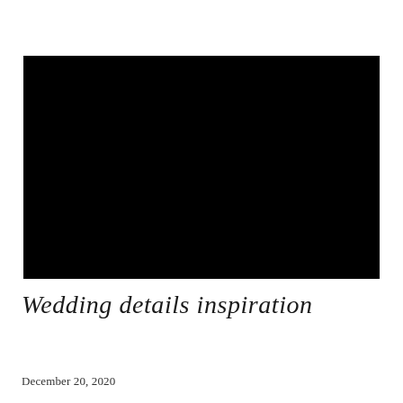[Figure (photo): Large black rectangular image placeholder, likely a wedding details photo that appears fully black/dark]
Wedding details inspiration
December 20, 2020